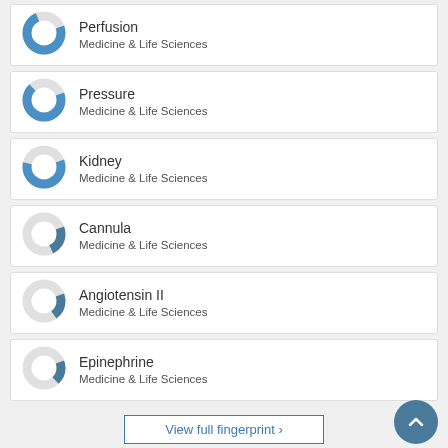[Figure (donut-chart): Perfusion]
Perfusion
Medicine & Life Sciences
[Figure (donut-chart): Pressure]
Pressure
Medicine & Life Sciences
[Figure (donut-chart): Kidney]
Kidney
Medicine & Life Sciences
[Figure (donut-chart): Cannula]
Cannula
Medicine & Life Sciences
[Figure (donut-chart): Angiotensin II]
Angiotensin II
Medicine & Life Sciences
[Figure (donut-chart): Epinephrine]
Epinephrine
Medicine & Life Sciences
View full fingerprint >